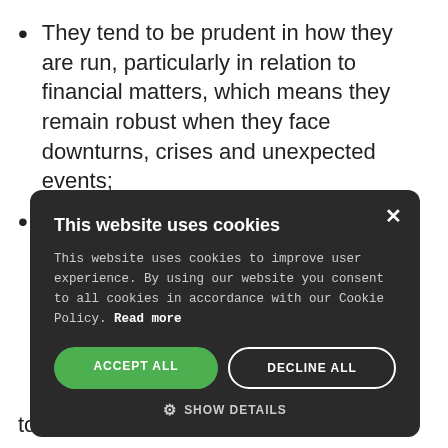They tend to be prudent in how they are run, particularly in relation to financial matters, which means they remain robust when they face downturns, crises and unexpected events;
They have the patience not to act when action is unnecessary and resist the [hunger] [y patient,]
[he world] [se changes] [rly defined] [nsibility.] [help them] to retain talent and to grow leaders
[Figure (screenshot): Cookie consent modal dialog with dark background. Title: 'This website uses cookies'. Body: 'This website uses cookies to improve user experience. By using our website you consent to all cookies in accordance with our Cookie Policy. Read more'. Buttons: 'ACCEPT ALL' (green), 'DECLINE ALL' (outlined white), 'SHOW DETAILS' (with gear icon). Close button (X) in top right.]